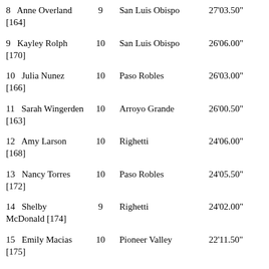| Name | Grade | School | Time |
| --- | --- | --- | --- |
| 8   Anne Overland [164] | 9 | San Luis Obispo | 27'03.50" |
| 9   Kayley Rolph [170] | 10 | San Luis Obispo | 26'06.00" |
| 10  Julia Nunez [166] | 10 | Paso Robles | 26'03.00" |
| 11  Sarah Wingerden [163] | 10 | Arroyo Grande | 26'00.50" |
| 12  Amy Larson [168] | 10 | Righetti | 24'06.00" |
| 13  Nancy Torres [172] | 10 | Paso Robles | 24'05.50" |
| 14  Shelby McDonald [174] | 9 | Righetti | 24'02.00" |
| 15  Emily Macias [175] | 10 | Pioneer Valley | 22'11.50" |
| 16  Olivia Sudik [177] | 10 | Righetti | 22'06.00" |
| 17  Leslie Mora [176] | 10 | Pioneer Valley | 22'00.00" |